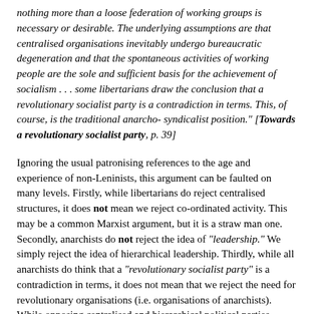nothing more than a loose federation of working groups is necessary or desirable. The underlying assumptions are that centralised organisations inevitably undergo bureaucratic degeneration and that the spontaneous activities of working people are the sole and sufficient basis for the achievement of socialism . . . some libertarians draw the conclusion that a revolutionary socialist party is a contradiction in terms. This, of course, is the traditional anarcho-syndicalist position." [Towards a revolutionary socialist party, p. 39]
Ignoring the usual patronising references to the age and experience of non-Leninists, this argument can be faulted on many levels. Firstly, while libertarians do reject centralised structures, it does not mean we reject co-ordinated activity. This may be a common Marxist argument, but it is a straw man one. Secondly, anarchists do not reject the idea of "leadership." We simply reject the idea of hierarchical leadership. Thirdly, while all anarchists do think that a "revolutionary socialist party" is a contradiction in terms, it does not mean that we reject the need for revolutionary organisations (i.e. organisations of anarchists). While opposing centralised and hierarchical political parties, anarchists have long saw the need for anarchist groups and federations to discuss and spread our ideas and influence. We will discuss each issue in turn.